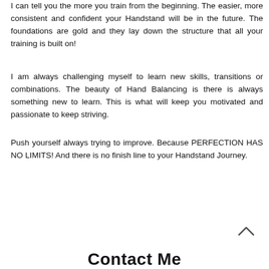I can tell you the more you train from the beginning. The easier, more consistent and confident your Handstand will be in the future. The foundations are gold and they lay down the structure that all your training is built on!
I am always challenging myself to learn new skills, transitions or combinations. The beauty of Hand Balancing is there is always something new to learn. This is what will keep you motivated and passionate to keep striving.
Push yourself always trying to improve. Because PERFECTION HAS NO LIMITS! And there is no finish line to your Handstand Journey.
Contact Me